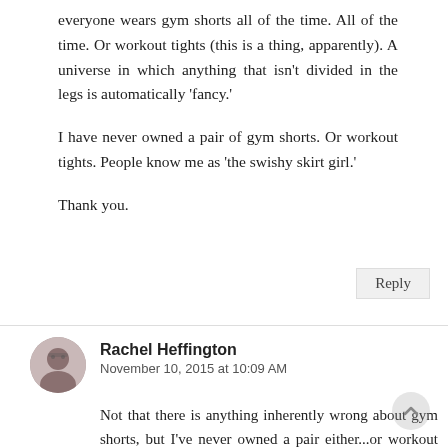everyone wears gym shorts all of the time. All of the time. Or workout tights (this is a thing, apparently). A universe in which anything that isn't divided in the legs is automatically 'fancy.'
I have never owned a pair of gym shorts. Or workout tights. People know me as 'the swishy skirt girl.'
Thank you.
Reply
Rachel Heffington
November 10, 2015 at 10:09 AM
Not that there is anything inherently wrong about gym shorts, but I've never owned a pair either...or workout tights. What universe IS this?